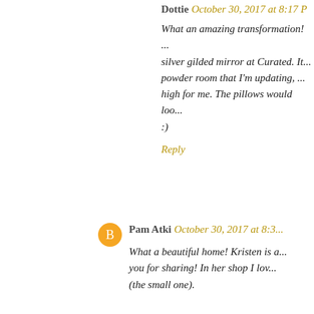Dottie October 30, 2017 at 8:17 P...
What an amazing transformation! ... silver gilded mirror at Curated. It... powder room that I'm updating, ... high for me. The pillows would loo... :)
Reply
Pam Atki October 30, 2017 at 8:3...
What a beautiful home! Kristen is a... you for sharing! In her shop I lov... (the small one).